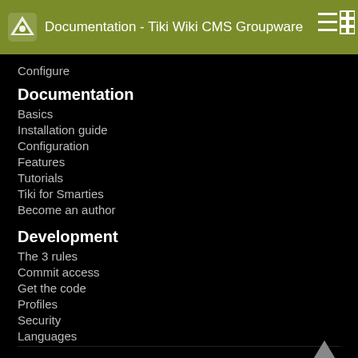Documentation - Tiki Wiki CMS Groupware
Configure
Documentation
Basics
Installation guide
Configuration
Features
Tutorials
Tiki for Smarties
Become an author
Development
The 3 rules
Commit access
Get the code
Profiles
Security
Languages